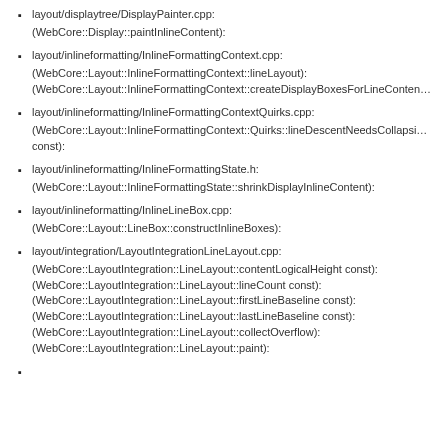layout/displaytree/DisplayPainter.cpp:
(WebCore::Display::paintInlineContent):
layout/inlineformatting/InlineFormattingContext.cpp:
(WebCore::Layout::InlineFormattingContext::lineLayout):
(WebCore::Layout::InlineFormattingContext::createDisplayBoxesForLineContent…
layout/inlineformatting/InlineFormattingContextQuirks.cpp:
(WebCore::Layout::InlineFormattingContext::Quirks::lineDescentNeedsCollapsi…
const):
layout/inlineformatting/InlineFormattingState.h:
(WebCore::Layout::InlineFormattingState::shrinkDisplayInlineContent):
layout/inlineformatting/InlineLineBox.cpp:
(WebCore::Layout::LineBox::constructInlineBoxes):
layout/integration/LayoutIntegrationLineLayout.cpp:
(WebCore::LayoutIntegration::LineLayout::contentLogicalHeight const):
(WebCore::LayoutIntegration::LineLayout::lineCount const):
(WebCore::LayoutIntegration::LineLayout::firstLineBaseline const):
(WebCore::LayoutIntegration::LineLayout::lastLineBaseline const):
(WebCore::LayoutIntegration::LineLayout::collectOverflow):
(WebCore::LayoutIntegration::LineLayout::paint):